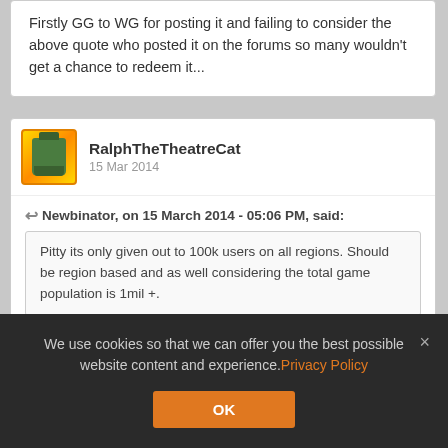Firstly GG to WG for posting it and failing to consider the above quote who posted it on the forums so many wouldn't get a chance to redeem it...
RalphTheTheatreCat
15 Mar 2014
Newbinator, on 15 March 2014 - 05:06 PM, said:
Pitty its only given out to 100k users on all regions. Should be region based and as well considering the total game population is 1mil +.
Didn't they celebrate 60,000,000 registered players last year?
RalphTheTheatreCat
15 Mar 2014
We use cookies so that we can offer you the best possible website content and experience. Privacy Policy